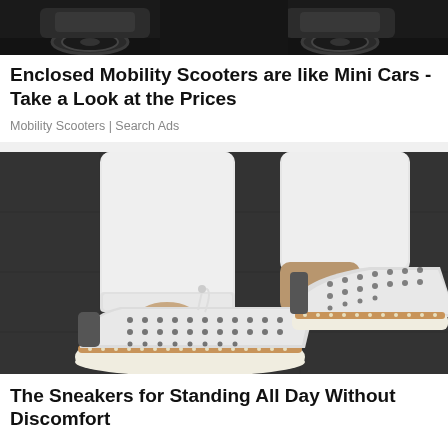[Figure (photo): Top portion of a mobility scooter advertisement showing the rear/wheel area of scooters on dark background]
Enclosed Mobility Scooters are like Mini Cars - Take a Look at the Prices
Mobility Scooters | Search Ads
[Figure (photo): Close-up photo of person wearing white espadrille-style sneakers with perforated upper and tan/cork sole, paired with white jeans, standing on dark pavement]
The Sneakers for Standing All Day Without Discomfort